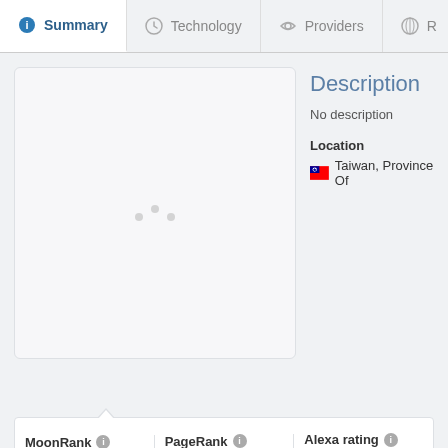Summary | Technology | Providers | R...
[Figure (screenshot): Loading placeholder box with spinner dots, representing a website screenshot thumbnail area]
Description
No description
Location
Taiwan, Province Of
| MoonRank | PageRank | Alexa rating |
| --- | --- | --- |
| 2 / 10 | 7 / 10 | — |